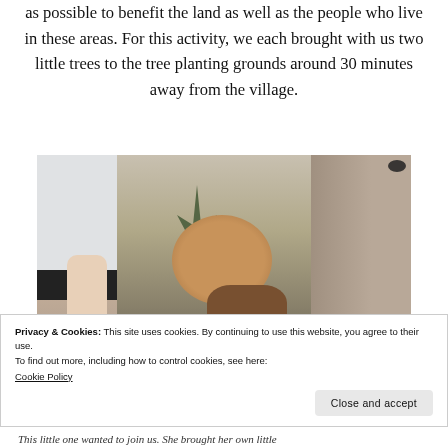as possible to benefit the land as well as the people who live in these areas. For this activity, we each brought with us two little trees to the tree planting grounds around 30 minutes away from the village.
[Figure (photo): A smiling young child wearing a floral headband standing on a dirt path, with a person in a grey shirt on the left and an adult holding a small tree seedling. Sandy/earthy outdoor surroundings.]
Privacy & Cookies: This site uses cookies. By continuing to use this website, you agree to their use.
To find out more, including how to control cookies, see here:
Cookie Policy
This little one wanted to join us. She brought her own little